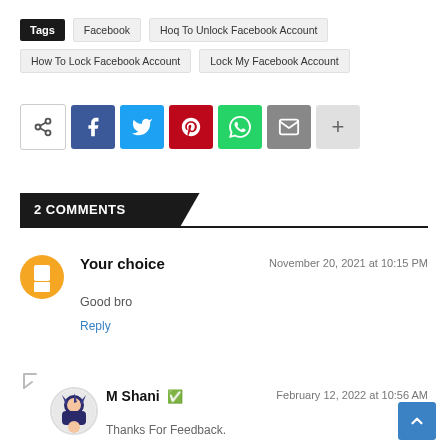Tags  Facebook  Hoq To Unlock Facebook Account  How To Lock Facebook Account  Lock My Facebook Account
[Figure (infographic): Social share buttons: share icon, Facebook, Twitter, Pinterest, WhatsApp, Email, More (+)]
2 COMMENTS
Your choice — November 20, 2021 at 10:15 PM
Good bro
Reply
M Shani ✓ — February 12, 2022 at 10:56 AM
Thanks For Feedback.